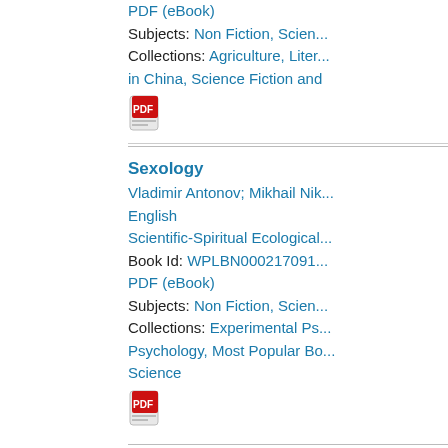PDF (eBook)
Subjects: Non Fiction, Science
Collections: Agriculture, Literature in China, Science Fiction and
[Figure (other): PDF eBook icon (red PDF logo)]
Sexology
Vladimir Antonov; Mikhail Nik
English
Scientific-Spiritual Ecological
Book Id: WPLBN000217091
PDF (eBook)
Subjects: Non Fiction, Science
Collections: Experimental Ps Psychology, Most Popular Bo Science
[Figure (other): PDF eBook icon (red PDF logo)]
Familiar Letters on Chemis
Justus Liebig ; John (ed) Gar